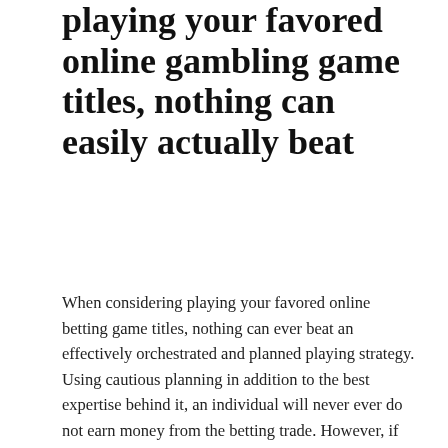playing your favored online gambling game titles, nothing can easily actually beat
When considering playing your favored online betting game titles, nothing can ever beat an effectively orchestrated and planned playing strategy. Using cautious planning in addition to the best expertise behind it, an individual will never ever do not earn money from the betting trade. However, if you need to generate a lot regarding money however you are new to this then you need to very first learn the various ways about how one particular may be the effective online wagerer. As soon as you become common using these strategies and an individual find hold regarding the right knowledge, next a person will still be in a position